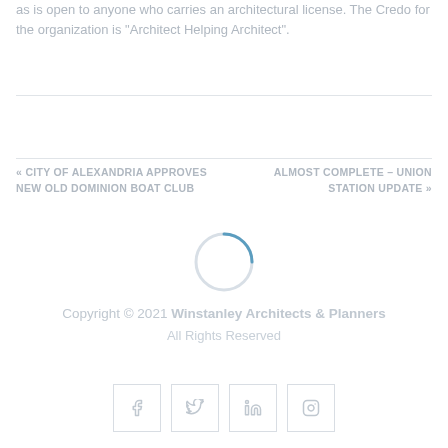as is open to anyone who carries an architectural license. The Credo for the organization is "Architect Helping Architect".
« CITY OF ALEXANDRIA APPROVES NEW OLD DOMINION BOAT CLUB
ALMOST COMPLETE – UNION STATION UPDATE »
[Figure (other): Loading spinner circle icon in blue/grey]
Copyright © 2021 Winstanley Architects & Planners All Rights Reserved
[Figure (other): Social media icons: Facebook, Twitter, LinkedIn, Instagram]